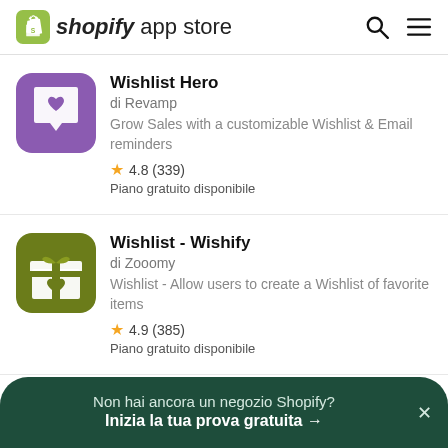shopify app store
[Figure (illustration): Wishlist Hero app icon: purple rounded square with a white heart inside a speech bubble]
Wishlist Hero
di Revamp
Grow Sales with a customizable Wishlist & Email reminders
★ 4.8 (339)
Piano gratuito disponibile
[Figure (illustration): Wishlist - Wishify app icon: olive green rounded square with a white gift box with heart]
Wishlist - Wishify
di Zooomy
Wishlist - Allow users to create a Wishlist of favorite items
★ 4.9 (385)
Piano gratuito disponibile
Non hai ancora un negozio Shopify? Inizia la tua prova gratuita →